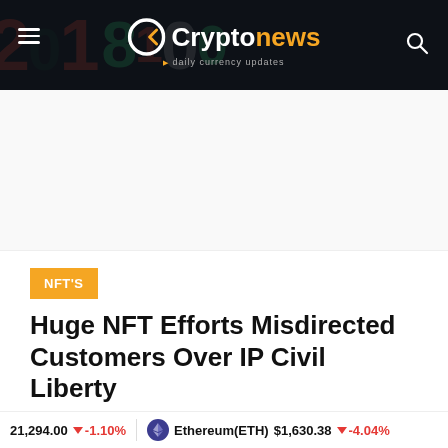Cryptonews · daily currency updates
NFT'S
Huge NFT Efforts Misdirected Customers Over IP Civil Liberty
NFT Information The record “A Survey of NFT Licenses: Facts & Fictions,” appeared...
21,294.00 ↓ -1.10%   Ethereum(ETH) $1,630.38 ↓ -4.04%